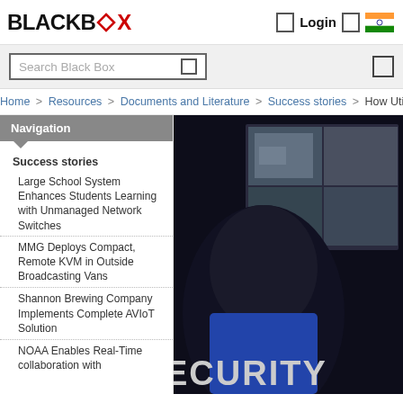[Figure (logo): Black Box logo with black text 'BLACK' and red 'BOX']
Login
Search Black Box
Home > Resources > Documents and Literature > Success stories > How Utility
Navigation
Success stories
Large School System Enhances Students Learning with Unmanaged Network Switches
MMG Deploys Compact, Remote KVM in Outside Broadcasting Vans
Shannon Brewing Company Implements Complete AVIoT Solution
NOAA Enables Real-Time collaboration with
[Figure (photo): Security monitoring image showing a person in front of multiple CCTV screens with the word SECURITY visible]